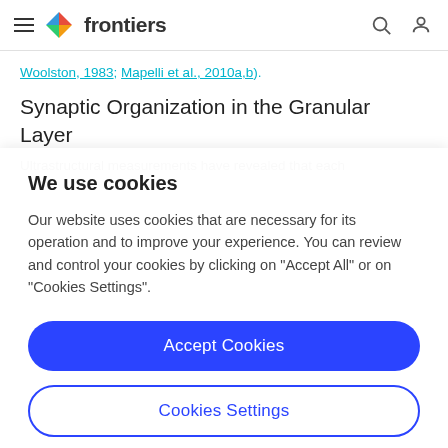frontiers
Woolston, 1983; Mapelli et al., 2010a,b).
Synaptic Organization in the Granular Layer
Ultrastructural measurements have revealed that each
We use cookies
Our website uses cookies that are necessary for its operation and to improve your experience. You can review and control your cookies by clicking on "Accept All" or on "Cookies Settings".
Accept Cookies
Cookies Settings